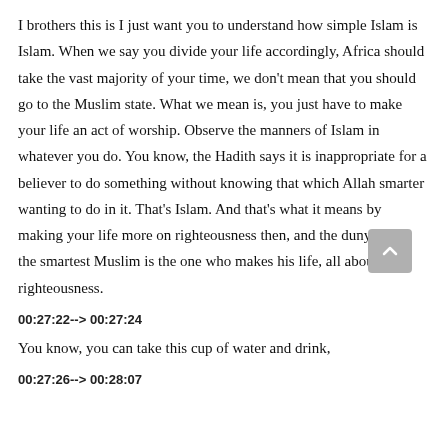I brothers this is I just want you to understand how simple Islam is Islam. When we say you divide your life accordingly, Africa should take the vast majority of your time, we don't mean that you should go to the Muslim state. What we mean is, you just have to make your life an act of worship. Observe the manners of Islam in whatever you do. You know, the Hadith says it is inappropriate for a believer to do something without knowing that which Allah smarter wanting to do in it. That's Islam. And that's what it means by making your life more on righteousness then, and the dunya. And the smartest Muslim is the one who makes his life, all about righteousness.
00:27:22--> 00:27:24
You know, you can take this cup of water and drink,
00:27:26--> 00:28:07